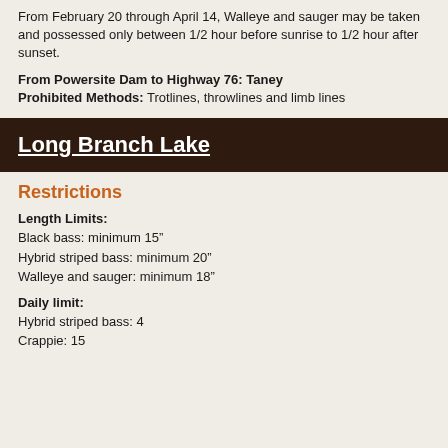From February 20 through April 14, Walleye and sauger may be taken and possessed only between 1/2 hour before sunrise to 1/2 hour after sunset.
From Powersite Dam to Highway 76: Taney Prohibited Methods: Trotlines, throwlines and limb lines
Long Branch Lake
Restrictions
Length Limits:
Black bass: minimum 15"
Hybrid striped bass: minimum 20"
Walleye and sauger: minimum 18"
Daily limit:
Hybrid striped bass: 4
Crappie: 15